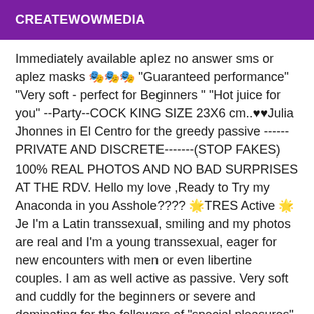CREATEWOWMEDIA
Immediately available aplez no answer sms or aplez masks 🎭🎭🎭 "Guaranteed performance" "Very soft - perfect for Beginners " "Hot juice for you" --Party--COCK KING SIZE 23X6 cm..♥♥Julia Jhonnes in El Centro for the greedy passive ------ PRIVATE AND DISCRETE-------(STOP FAKES) 100% REAL PHOTOS AND NO BAD SURPRISES AT THE RDV. Hello my love ,Ready to Try my Anaconda in you Asshole???? 🌟TRES Active 🌟Je I'm a Latin transsexual, smiling and my photos are real and I'm a young transsexual, eager for new encounters with men or even libertine couples. I am as well active as passive. Very soft and cuddly for the beginners or severe and dominating for the followers of "special pleasures". In El Centro 🌹🌹 !!!!!!*** PICTURES 100% REAL***!!!! *** AVAILABLE FROM 10:00 AM TO 00:00 AM *** APPOINTMENT 30 MIN BEFORE *** !! NON-NEGOTIABLE PRICE !! --Private numbers will be